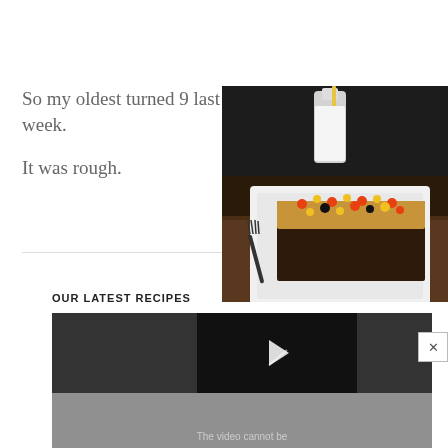So my oldest turned 9 last week.
It was rough.
[Figure (photo): A chocolate brownie slice with peanut butter frosting topped with colorful candy pieces, served on a white plate with a fork. A small glass milk bottle with a yellow straw is in the background, set against a dark backdrop on a wooden surface.]
OUR LATEST RECIPES
[Figure (screenshot): A video player area with a dark background and a play button icon, showing text 'The video cannot be' at the bottom.]